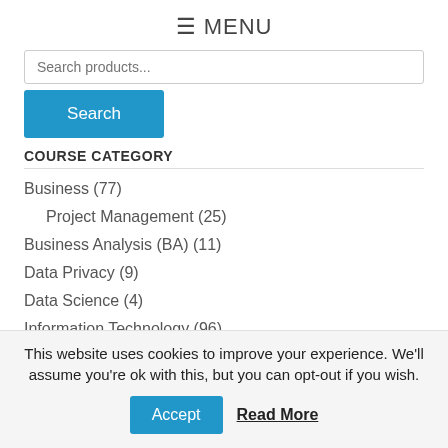≡ MENU
Search products...
Search
COURSE CATEGORY
Business (77)
Project Management (25)
Business Analysis (BA) (11)
Data Privacy (9)
Data Science (4)
Information Technology (96)
Artificial Intelligence (1)
This website uses cookies to improve your experience. We'll assume you're ok with this, but you can opt-out if you wish.
Accept
Read More